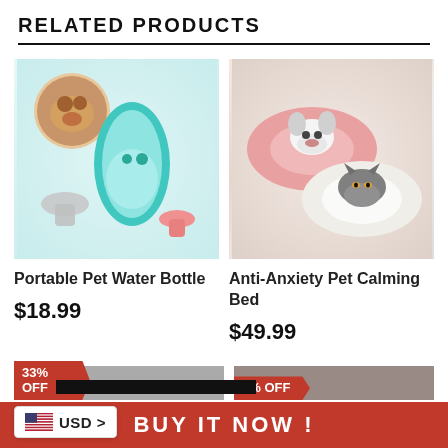RELATED PRODUCTS
[Figure (photo): Portable pet water bottle in aqua/teal color with detachable bowl/spoon accessories shown in white and pink variants, with a circular inset of a golden retriever dog drinking from the bottle]
[Figure (photo): Fluffy donut-shaped calming pet beds in pink and white with a French bulldog in the pink bed and a gray cat sitting in the white bed]
Portable Pet Water Bottle
$18.99
Anti-Anxiety Pet Calming Bed
$49.99
33% OFF
7% OFF
USD >
BUY IT NOW !